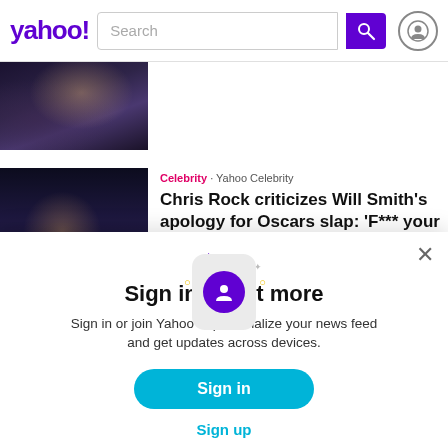yahoo! Search
[Figure (photo): Partially visible photo showing people in formal wear, cropped at top]
[Figure (photo): Chris Rock in a tuxedo at an awards event, looking serious]
Celebrity · Yahoo Celebrity
Chris Rock criticizes Will Smith's apology for Oscars slap: 'F*** your hostage video'
[Figure (illustration): Sign in modal illustration with a phone card icon and sparkles, purple avatar with person silhouette]
Sign in to get more
Sign in or join Yahoo to personalize your news feed and get updates across devices.
Sign in
Sign up